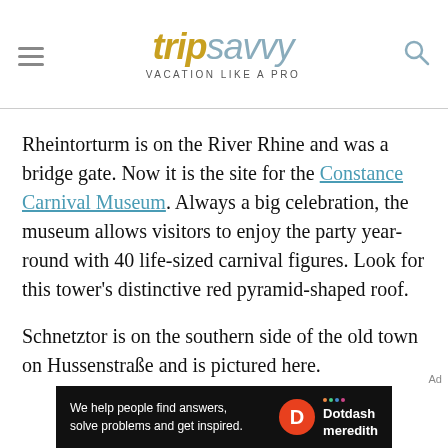TripSavvy VACATION LIKE A PRO
Rheintorturm is on the River Rhine and was a bridge gate. Now it is the site for the Constance Carnival Museum. Always a big celebration, the museum allows visitors to enjoy the party year-round with 40 life-sized carnival figures. Look for this tower's distinctive red pyramid-shaped roof.
Schnetztor is on the southern side of the old town on Hussenstraße and is pictured here.
[Figure (other): Dotdash Meredith advertisement banner: 'We help people find answers, solve problems and get inspired.']